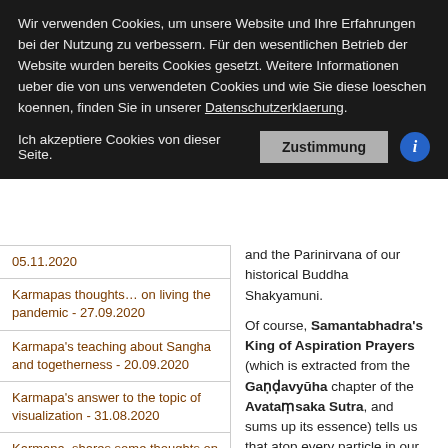Wir verwenden Cookies, um unsere Website und Ihre Erfahrungen bei der Nutzung zu verbessern. Für den wesentlichen Betrieb der Website wurden bereits Cookies gesetzt. Weitere Informationen ueber die von uns verwendeten Cookies und wie Sie diese loeschen koennen, finden Sie in unserer Datenschutzerklaerung.
Ich akzeptiere Cookies von dieser Seite. [Zustimmung button] [i icon]
05.11.2020
Karmapas thoughts… on living the pandemic - 27.09.2020
Karmapa's teaching about Sangha and togetherness - 20.09.2020
Karmapa's answer to the topic of visualization - 31.08.2020
Karmapa, shares some thoughts on karma - 31.07.2020
Karmapa's answer to questions about karma - 25.07.2020
A message from Karmapa for you - 15.07.2020
and the Parinirvana of our historical Buddha Shakyamuni.

Of course, Samantabhadra's King of Aspiration Prayers (which is extracted from the Gaṇḍavyūha chapter of the Avataṃsaka Sutra, and sums up its essence) tells us that atop every particle in our world there are as many pure realms as there are atoms in the universe, and that in